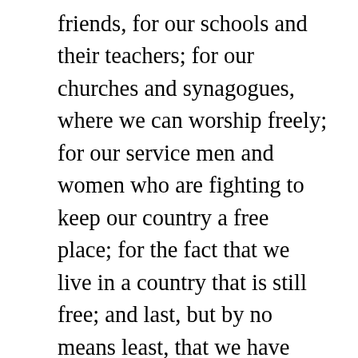friends, for our schools and their teachers; for our churches and synagogues, where we can worship freely; for our service men and women who are fighting to keep our country a free place; for the fact that we live in a country that is still free; and last, but by no means least, that we have lived to see another Thanksgiving! For the families among us who have members missing from the holiday table this year, we pray that they have the strength and courage to make it through these coming holidays, with perhaps a little lessening of the pain in their hearts. Just as HE is the “reason for the season”, at Christmas, THANKS is the first word in the name of this feast we are celebrating. And, let’s add a special prayer for